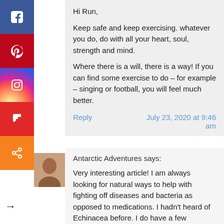Hi Run,
Keep safe and keep exercising.  whatever you do, do with all your heart, soul, strength and mind.
Where there is a will, there is a way!  If you can find some exercise to do – for example – singing or football, you will feel much better.
Reply	July 23, 2020 at 9:46 am
Antarctic Adventures says:
Very interesting article! I am always looking for natural ways to help with fighting off diseases and bacteria as opposed to medications. I hadn't heard of Echinacea before. I do have a few questions though.